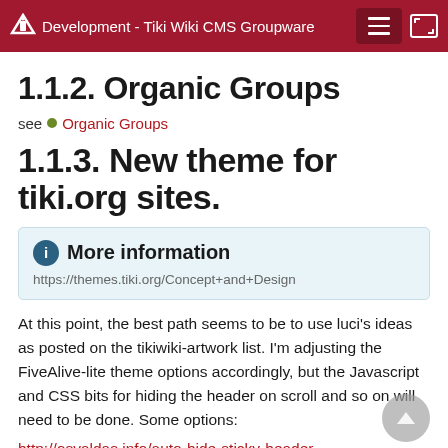Development - Tiki Wiki CMS Groupware
1.1.2. Organic Groups
see  Organic Groups
1.1.3. New theme for tiki.org sites.
ℹ More information
https://themes.tiki.org/Concept+and+Design
At this point, the best path seems to be to use luci's ideas as posted on the tikiwiki-artwork list. I'm adjusting the FiveAlive-lite theme options accordingly, but the Javascript and CSS bits for hiding the header on scroll and so on will need to be done. Some options:
http://osvaldas.info/auto-hide-sticky-header